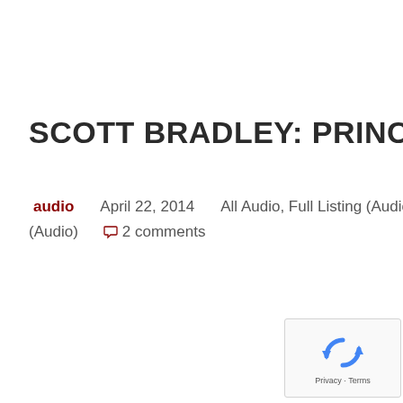SCOTT BRADLEY: PRINCIPLES OF JUS…
audio   April 22, 2014   All Audio, Full Listing (Audio), Orig… (Audio)   2 comments
Read more
[Figure (logo): Google reCAPTCHA widget showing circular arrows logo and Privacy · Terms text]